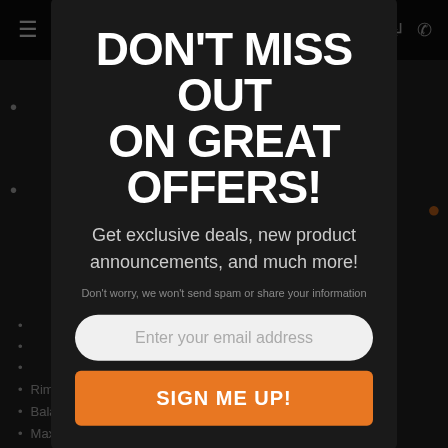TMD [logo with orange brand name and line]
DON'T MISS OUT ON GREAT OFFERS!
Get exclusive deals, new product announcements, and much more!
Don't worry, we won't send spam or share your information
Enter your email address
SIGN ME UP!
Sp
Rim Width 1.5-16
Balancing speed: 220 rpm
Maximum wheel weight: 150lb